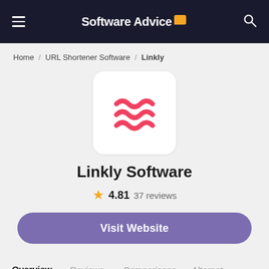Software Advice
Home / URL Shortener Software / Linkly
[Figure (logo): Linkly logo: three red/pink wavy lines on white rounded-square background]
Linkly Software
★ 4.81 37 reviews
Visit Website
Overview | Reviews | Comparisons | Alternatives